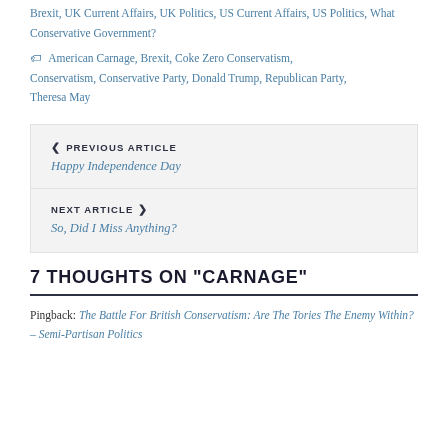Brexit, UK Current Affairs, UK Politics, US Current Affairs, US Politics, What Conservative Government?
American Carnage, Brexit, Coke Zero Conservatism, Conservatism, Conservative Party, Donald Trump, Republican Party, Theresa May
« PREVIOUS ARTICLE
Happy Independence Day
NEXT ARTICLE »
So, Did I Miss Anything?
7 THOUGHTS ON "CARNAGE"
Pingback: The Battle For British Conservatism: Are The Tories The Enemy Within? – Semi-Partisan Politics